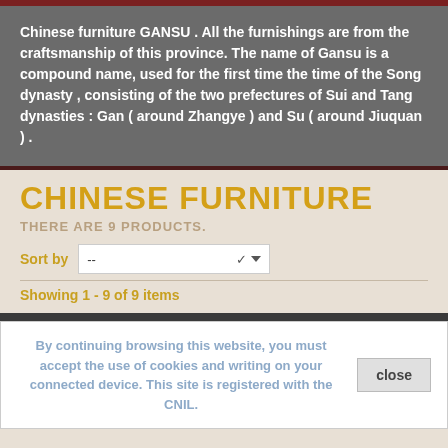Chinese furniture GANSU . All the furnishings are from the craftsmanship of this province. The name of Gansu is a compound name, used for the first time the time of the Song dynasty , consisting of the two prefectures of Sui and Tang dynasties : Gan ( around Zhangye ) and Su ( around Jiuquan ) .
CHINESE FURNITURE
THERE ARE 9 PRODUCTS.
Sort by --
Showing 1 - 9 of 9 items
By continuing browsing this website, you must accept the use of cookies and writing on your connected device. This site is registered with the CNIL.